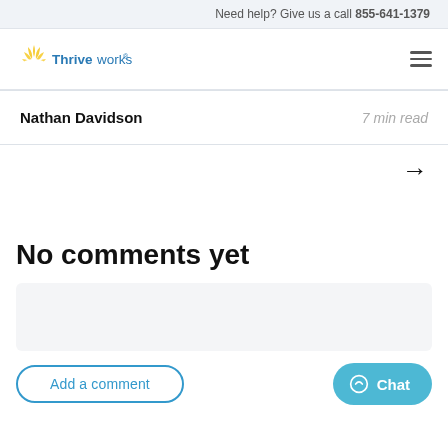Need help? Give us a call 855-641-1379
[Figure (logo): Thriveworks logo with sun/rays icon and blue wordmark]
Nathan Davidson    7 min read
→
No comments yet
Add a comment
Chat